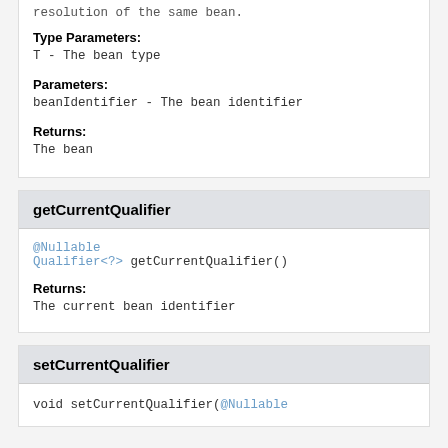resolution of the same bean.
Type Parameters:
T - The bean type
Parameters:
beanIdentifier - The bean identifier
Returns:
The bean
getCurrentQualifier
@Nullable
Qualifier<?> getCurrentQualifier()
Returns:
The current bean identifier
setCurrentQualifier
void setCurrentQualifier(@Nullable